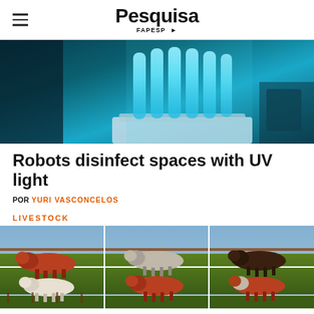Pesquisa FAPESP
[Figure (photo): UV light disinfection robot with glowing blue-cyan fluorescent tubes in a medical/lab setting]
Robots disinfect spaces with UV light
POR YURI VASCONCELOS
LIVESTOCK
[Figure (photo): Grid of cattle/cows running in a pasture with fences, multiple panels showing different livestock breeds]